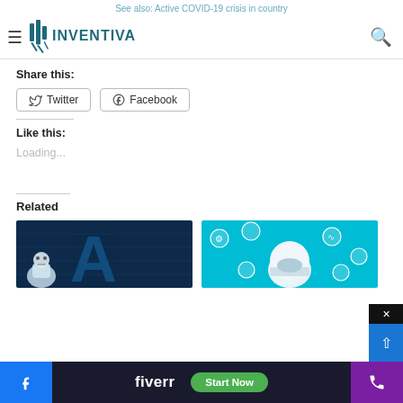See also: Active COVID-19 crisis in country
[Figure (logo): Inventiva logo with hamburger menu on left and search icon on right]
Share this:
Twitter  Facebook
Like this:
Loading...
Related
[Figure (photo): AI robot with large letter A in dark blue background]
[Figure (photo): IoT smart helmet with connected icons on cyan/blue background]
[Figure (screenshot): Fiverr advertisement banner with Start Now button, Facebook icon, and phone icon at bottom]